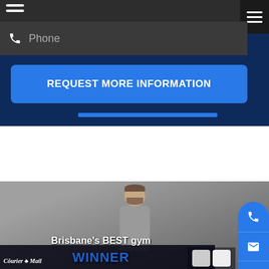[Figure (screenshot): Website UI screenshot showing a dark phone input field row with phone icon and 'Phone' placeholder text, and a hamburger menu icon on the upper right]
Phone
[Figure (screenshot): Blue 'REQUEST MORE INFORMATION' button on a dark navy blue background with a blue underline bar below it]
REQUEST MORE INFORMATION
[Figure (photo): Photo of a man with beard standing against concrete wall background. Overlay text reads Brisbane's BEST gym WINNER with Courier Mail logo. Floating blue buttons for phone, email, and location on the right side.]
Brisbane's BEST gym
WINNER
Courier Mail